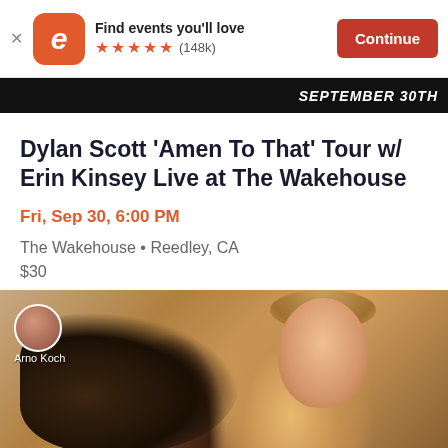[Figure (screenshot): Eventbrite app banner with orange rounded icon showing stylized letter e, text 'Find events you'll love', five orange stars rating with (148k) reviews, and orange Continue button]
[Figure (photo): Dark event banner strip with text SEPTEMBER 30TH in bold white italic letters]
Dylan Scott 'Amen To That' Tour w/ Erin Kinsey Live at The Wakehouse
Fri, Sep 30, 6:00 PM
The Wakehouse • Reedley, CA
$30
[Figure (photo): Photo of a smiling young man making a shushing gesture with finger to lips, with a woman in front of him, warm outdoor bokeh background. User avatar of Arno Koch visible in top left corner with name label.]